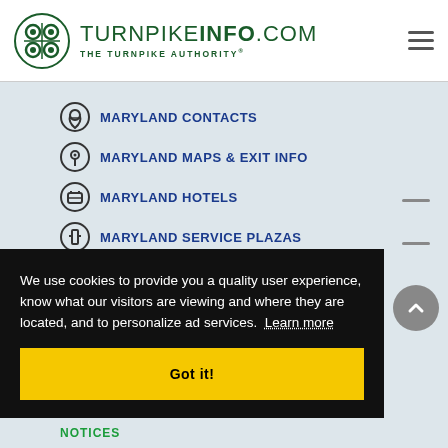TURNPIKEINFO.COM THE TURNPIKE AUTHORITY
MARYLAND CONTACTS
MARYLAND MAPS & EXIT INFO
MARYLAND HOTELS
MARYLAND SERVICE PLAZAS
MARYLAND TRAVEL WEATHER
We use cookies to provide you a quality user experience, know what our visitors are viewing and where they are located, and to personalize ad services. Learn more
Got it!
NOTICES